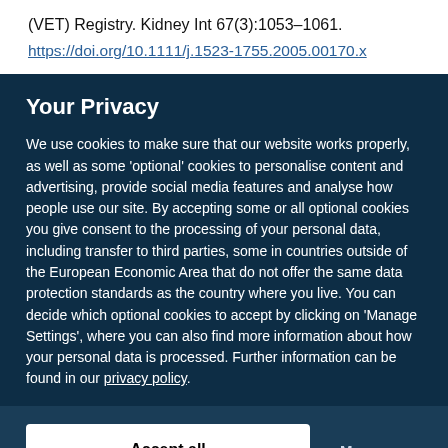(VET) Registry. Kidney Int 67(3):1053–1061.
https://doi.org/10.1111/j.1523-1755.2005.00170.x
Your Privacy
We use cookies to make sure that our website works properly, as well as some 'optional' cookies to personalise content and advertising, provide social media features and analyse how people use our site. By accepting some or all optional cookies you give consent to the processing of your personal data, including transfer to third parties, some in countries outside of the European Economic Area that do not offer the same data protection standards as the country where you live. You can decide which optional cookies to accept by clicking on 'Manage Settings', where you can also find more information about how your personal data is processed. Further information can be found in our privacy policy.
Accept all cookies
Manage preferences